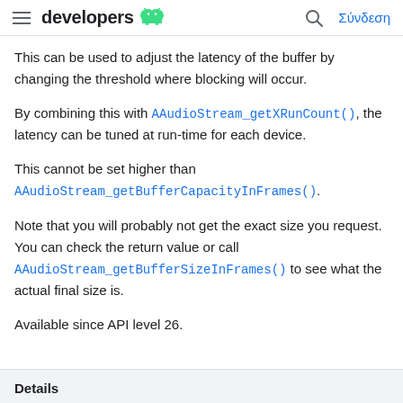developers [Android logo] [Search] Σύνδεση
This can be used to adjust the latency of the buffer by changing the threshold where blocking will occur.
By combining this with AAudioStream_getXRunCount(), the latency can be tuned at run-time for each device.
This cannot be set higher than AAudioStream_getBufferCapacityInFrames().
Note that you will probably not get the exact size you request. You can check the return value or call AAudioStream_getBufferSizeInFrames() to see what the actual final size is.
Available since API level 26.
Details